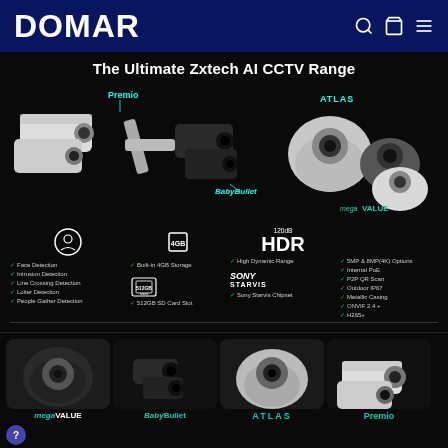DOMAR
The Ultimate Zxtech AI CCTV Range
[Figure (photo): Product photo showing Zxtech AI CCTV camera range including Premio, BabyBullet, Atlas, and megaVALUE models on dark background, with feature icons and text listing Face Detection, Intrusion Detection, Line Crossing Detection, Loiter Detection, People Gather Detection, Built-in 4GB Storage, 512GB SD Card Slot, 120dB HDR, High Dynamic Range, Sony Starvis Chipset, 5MP & 8MP(4K) Options, Internal PoE, P2P QR Scan, Outdoor IP67, Metallic Casing, ONVIF 2.4+, H265+]
[Figure (photo): Four camera thumbnail images at bottom: megaVALUE, BabyBullet, ATLAS, Premio]